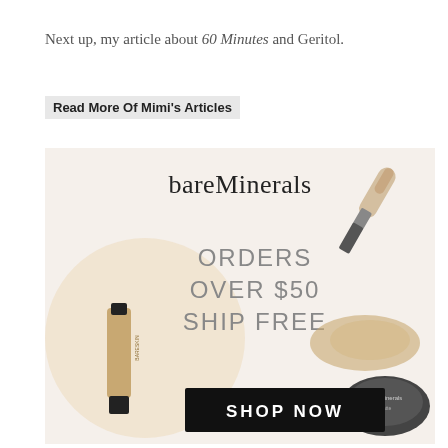Next up, my article about 60 Minutes and Geritol.
Read More Of Mimi's Articles
[Figure (infographic): bareMinerals advertisement showing makeup products with text 'bareMinerals', 'ORDERS OVER $50 SHIP FREE', and a 'SHOP NOW' button. Products shown include foundation brushes, loose powder, and makeup compacts.]